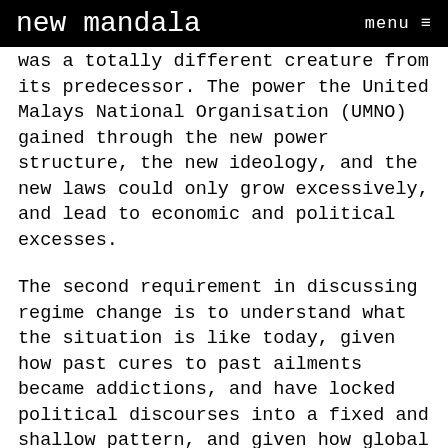new mandala   menu ≡
was a totally different creature from its predecessor. The power the United Malays National Organisation (UMNO) gained through the new power structure, the new ideology, and the new laws could only grow excessively, and lead to economic and political excesses.
The second requirement in discussing regime change is to understand what the situation is like today, given how past cures to past ailments became addictions, and have locked political discourses into a fixed and shallow pattern, and given how global and national socio-political and socio-economic conditions have developed. In truth, had the latter not changed radically, the need for change that so